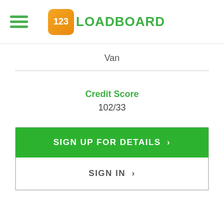[Figure (logo): 123Loadboard logo with hamburger menu icon on the left]
Van
Credit Score
102/33
SIGN UP FOR DETAILS >
SIGN IN >